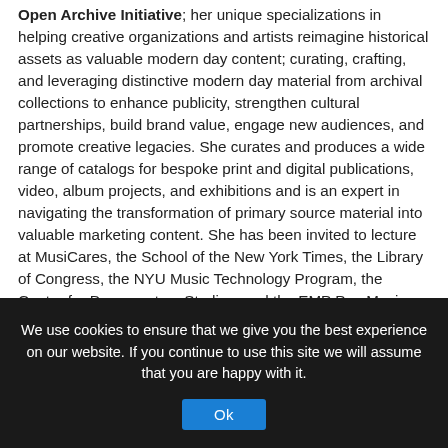Open Archive Initiative; her unique specializations in helping creative organizations and artists reimagine historical assets as valuable modern day content; curating, crafting, and leveraging distinctive modern day material from archival collections to enhance publicity, strengthen cultural partnerships, build brand value, engage new audiences, and promote creative legacies. She curates and produces a wide range of catalogs for bespoke print and digital publications, video, album projects, and exhibitions and is an expert in navigating the transformation of primary source material into valuable marketing content. She has been invited to lecture at MusiCares, the School of the New York Times, the Library of Congress, the NYU Music Technology Program, the Center for Documentary Studies, and the EMP Pop Music Conference. She is also a recording and performing artist under the name
We use cookies to ensure that we give you the best experience on our website. If you continue to use this site we will assume that you are happy with it.